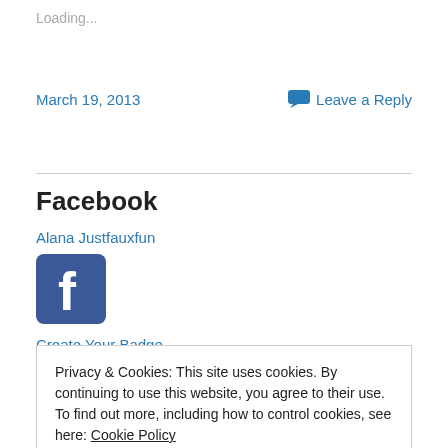Loading...
March 19, 2013
Leave a Reply
Facebook
Alana Justfauxfun
[Figure (logo): Facebook logo icon — blue square with white 'f']
Create Your Badge
Privacy & Cookies: This site uses cookies. By continuing to use this website, you agree to their use.
To find out more, including how to control cookies, see here: Cookie Policy
Close and accept